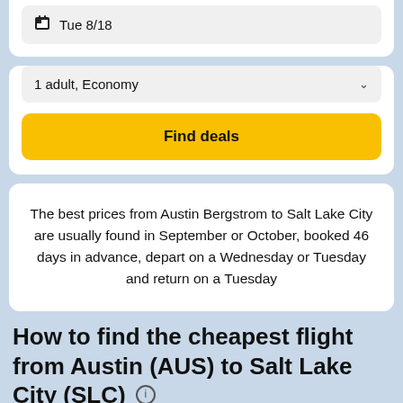Tue 8/18
1 adult, Economy
Find deals
The best prices from Austin Bergstrom to Salt Lake City are usually found in September or October, booked 46 days in advance, depart on a Wednesday or Tuesday and return on a Tuesday
How to find the cheapest flight from Austin (AUS) to Salt Lake City (SLC)